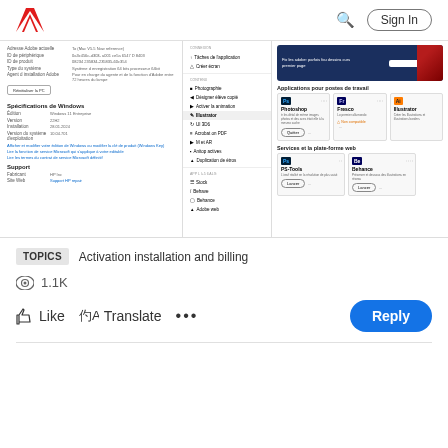Adobe — Sign In
[Figure (screenshot): Adobe Creative Cloud desktop app screenshot showing system information panel on the left with Windows specifications, a navigation menu in the middle with options like Photoshop, Illustrator etc., and the main panel on the right showing installed apps (Photoshop, Fresco, Illustrator) and services (PS-Tools, Behance)]
TOPICS  Activation installation and billing
1.1K views
Like  Translate  ...  Reply